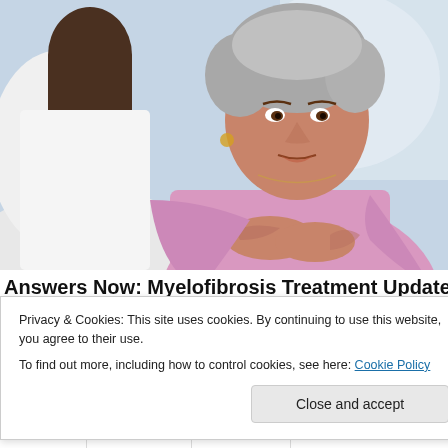[Figure (photo): An older Hispanic woman in a pink top sits across from a medical professional in a white coat. She is looking directly at the professional with a concerned expression, hands clasped. The background is a bright, blurred clinical environment.]
Answers Now: Myelofibrosis Treatment Updates
Privacy & Cookies: This site uses cookies. By continuing to use this website, you agree to their use.
To find out more, including how to control cookies, see here: Cookie Policy
Close and accept
Twitter  Facebook  Pinterest  Email